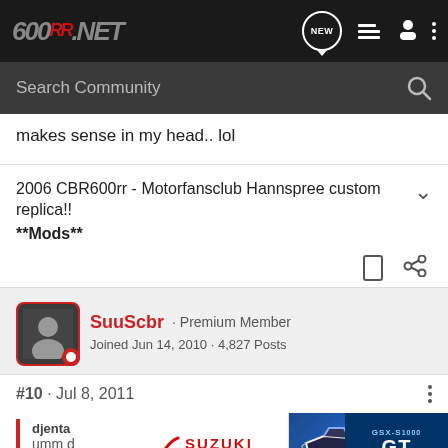600RR.NET - Search Community
makes sense in my head.. lol
2006 CBR600rr - Motorfansclub Hannspree custom replica!! **Mods**
SuuScbr · Premium Member
Joined Jun 14, 2010 · 4,827 Posts
#10 · Jul 8, 2011
djenta
umm d
[Figure (screenshot): Suzuki GSX-S1000GT advertisement banner]